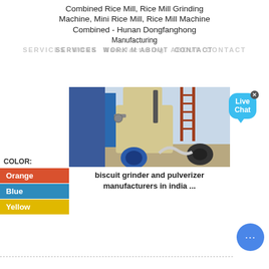Combined Rice Mill, Rice Mill Grinding Machine, Mini Rice Mill, Rice Mill Machine Combined - Hunan Dongfanghong Manufacturing
SERVICES WORK MANUFACTURING ABOUT CONTACT
[Figure (photo): Industrial grinding/pulverizer machine photographed outdoors showing blue and beige colored machinery with pipes and motors]
biscuit grinder and pulverizer manufacturers in india ...
COLOR:
Orange
Blue
Yellow
[Figure (other): Live Chat bubble widget in blue]